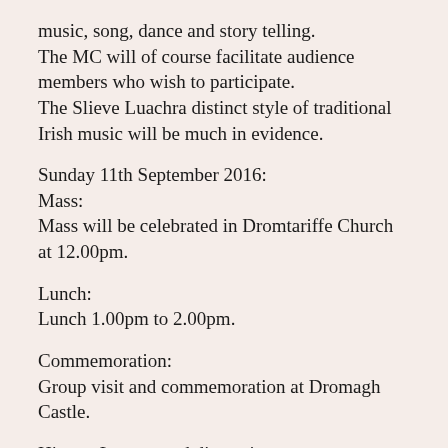music, song, dance and story telling. The MC will of course facilitate audience members who wish to participate. The Slieve Luachra distinct style of traditional Irish music will be much in evidence.
Sunday 11th September 2016:
Mass:
Mass will be celebrated in Dromtariffe Church at 12.00pm.
Lunch:
Lunch 1.00pm to 2.00pm.
Commemoration:
Group visit and commemoration at Dromagh Castle.
History Lecture and discussion:
After lunch and following the group vitit to Dromagh Castle there will be a History Lecture in